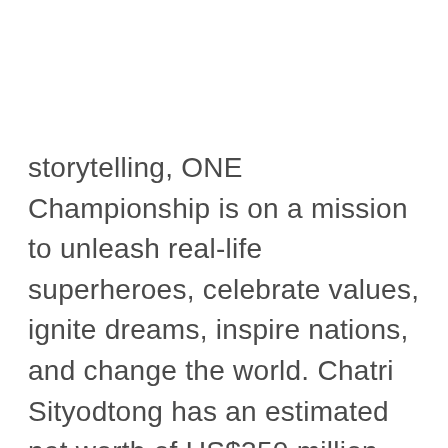storytelling, ONE Championship is on a mission to unleash real-life superheroes, celebrate values, ignite dreams, inspire nations, and change the world. Chatri Sityodtong has an estimated net worth of US$350 million and will be the star of the upcoming edition of The Apprentice where 16 candidates will be vying to be the protege of one of Asia's leading entrepreneurs. Here's the Thailand sensation on his self-made